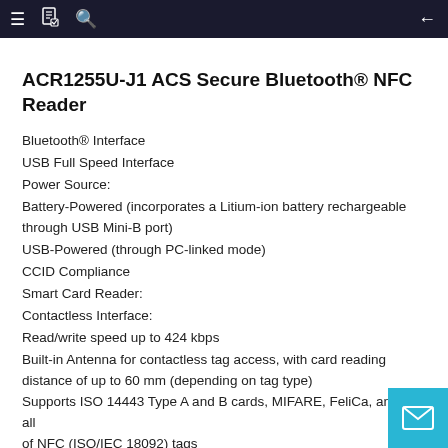≡ 📋 🔍 ←
ACR1255U-J1 ACS Secure Bluetooth® NFC Reader
Bluetooth® Interface
USB Full Speed Interface
Power Source:
Battery-Powered (incorporates a Litium-ion battery rechargeable through USB Mini-B port)
USB-Powered (through PC-linked mode)
CCID Compliance
Smart Card Reader:
Contactless Interface:
Read/write speed up to 424 kbps
Built-in Antenna for contactless tag access, with card reading distance of up to 60 mm (depending on tag type)
Supports ISO 14443 Type A and B cards, MIFARE, FeliCa, and all types of NFC (ISO/IEC 18092) tags
Built-in capabilities for contactless tag access, with card reading distance up to...